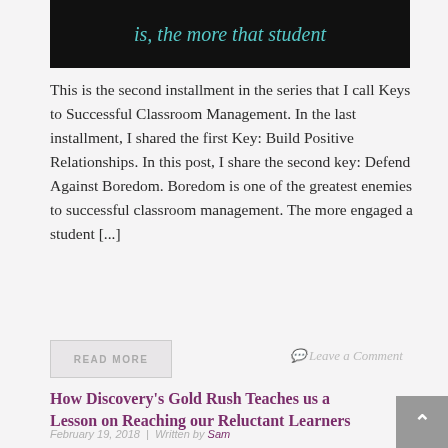[Figure (illustration): Dark banner image with cursive teal text reading 'is, the more that student']
This is the second installment in the series that I call Keys to Successful Classroom Management. In the last installment, I shared the first Key: Build Positive Relationships. In this post, I share the second key: Defend Against Boredom. Boredom is one of the greatest enemies to successful classroom management. The more engaged a student [...]
READ MORE
Leave a Comment
How Discovery's Gold Rush Teaches us a Lesson on Reaching our Reluctant Learners
February 19, 2018  |  Written by Sam